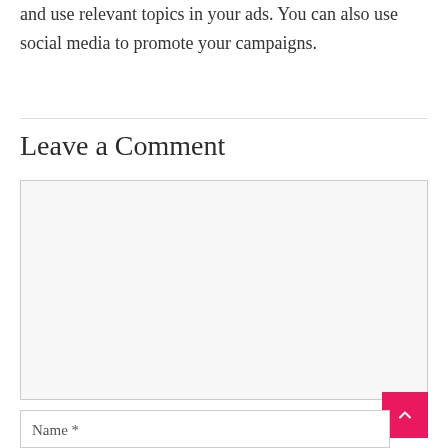and use relevant topics in your ads. You can also use social media to promote your campaigns.
Leave a Comment
[Figure (screenshot): Empty comment textarea input box with light grey background]
[Figure (screenshot): Name input field, partially visible at bottom of page]